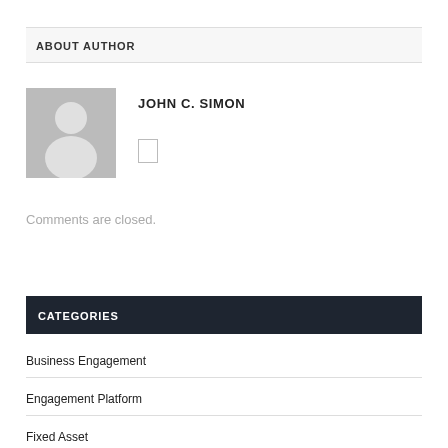ABOUT AUTHOR
[Figure (illustration): Default author avatar placeholder - grey circle silhouette on grey background]
JOHN C. SIMON
Comments are closed.
CATEGORIES
Business Engagement
Engagement Platform
Fixed Asset